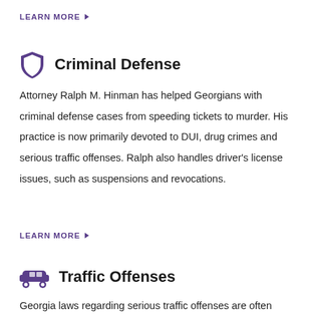LEARN MORE ▶
Criminal Defense
Attorney Ralph M. Hinman has helped Georgians with criminal defense cases from speeding tickets to murder. His practice is now primarily devoted to DUI, drug crimes and serious traffic offenses. Ralph also handles driver's license issues, such as suspensions and revocations.
LEARN MORE ▶
Traffic Offenses
Georgia laws regarding serious traffic offenses are often legally